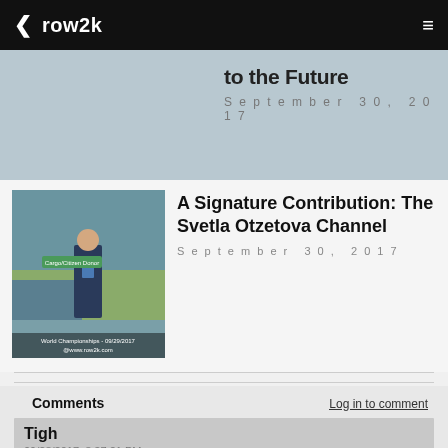row2k
to the Future
September 30, 2017
[Figure (photo): Person standing near rowing venue with water and green lawn, World Championships 09/29/2017, www.row2k.com]
A Signature Contribution: The Svetla Otzetova Channel
September 30, 2017
Comments
Log in to comment
Tigh
09/28/2017 8:37:21 PM
Great coverage. Thank you, Eds!
report abuse